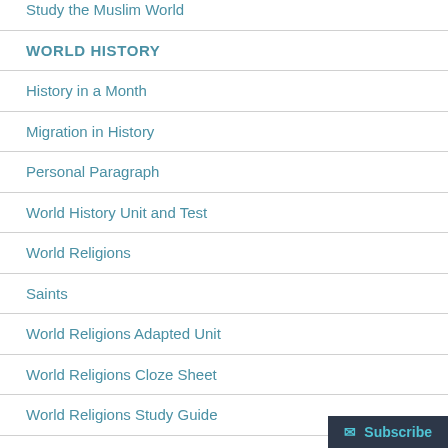Study the Muslim World
WORLD HISTORY
History in a Month
Migration in History
Personal Paragraph
World History Unit and Test
World Religions
Saints
World Religions Adapted Unit
World Religions Cloze Sheet
World Religions Study Guide
Indigenous People